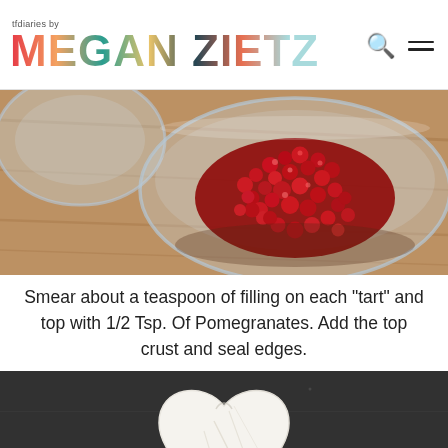tfdiaries by MEGAN ZIETZ
[Figure (photo): Glass bowl filled with red pomegranate seeds on a wooden surface, with a partial view of another bowl in the upper left corner.]
Smear about a teaspoon of filling on each "tart" and top with 1/2 Tsp. Of Pomegranates. Add the top crust and seal edges.
[Figure (photo): A heart-shaped white dough pastry/tart on a dark gray surface, sealed at the edges.]